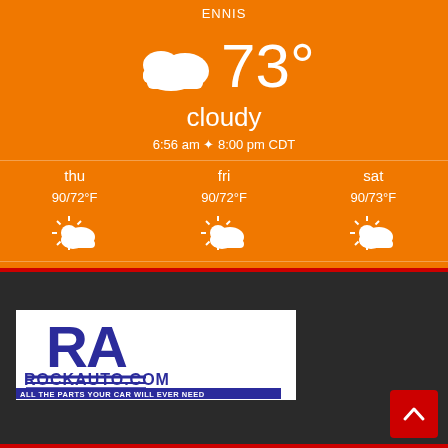ENNIS
73°
cloudy
6:56 am ☀ 8:00 pm CDT
[Figure (screenshot): Weather forecast widget showing thu 90/72°F partly cloudy, fri 90/72°F partly cloudy, sat 90/73°F partly cloudy]
Weather forecast Ennis, Texas ▶
[Figure (logo): RockAuto.com logo - ALL THE PARTS YOUR CAR WILL EVER NEED]